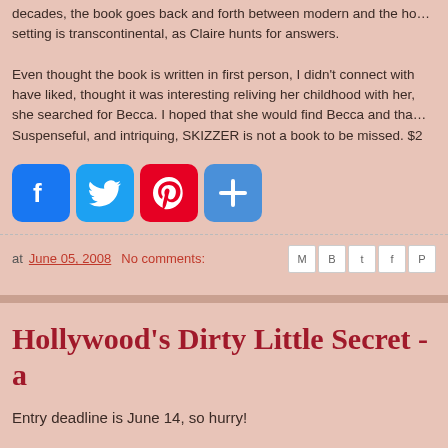decades, the book goes back and forth between modern and the historical setting is transcontinental, as Claire hunts for answers.
Even thought the book is written in first person, I didn't connect with have liked, thought it was interesting reliving her childhood with her, she searched for Becca. I hoped that she would find Becca and that Suspenseful, and intriquing, SKIZZER is not a book to be missed. $2
[Figure (other): Social share buttons: Facebook (blue), Twitter (blue), Pinterest (red), Plus/Share (blue)]
at June 05, 2008   No comments:
Hollywood's Dirty Little Secret - a
Entry deadline is June 14, so hurry!
Hollywood Screenwriter Takes On Real Life
"I thought my life was over."